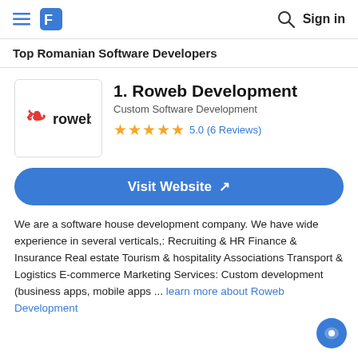Top Romanian Software Developers
1. Roweb Development
Custom Software Development
5.0 (6 Reviews)
Visit Website ↗
We are a software house development company. We have wide experience in several verticals,: Recruiting & HR Finance & Insurance Real estate Tourism & hospitality Associations Transport & Logistics E-commerce Marketing Services: Custom development (business apps, mobile apps ... learn more about Roweb Development